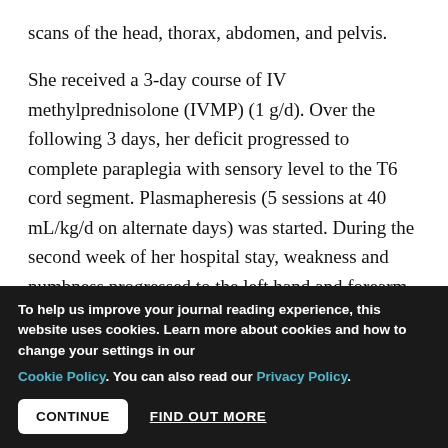scans of the head, thorax, abdomen, and pelvis.
She received a 3-day course of IV methylprednisolone (IVMP) (1 g/d). Over the following 3 days, her deficit progressed to complete paraplegia with sensory level to the T6 cord segment. Plasmapheresis (5 sessions at 40 mL/kg/d on alternate days) was started. During the second week of her hospital stay, weakness and numbness progressed to the left hand and forearm with MRI lesions extending to the C7 cord (Figure 1C). A 3-
To help us improve your journal reading experience, this website uses cookies. Learn more about cookies and how to change your settings in our Cookie Policy. You can also read our Privacy Policy.
CONTINUE   FIND OUT MORE